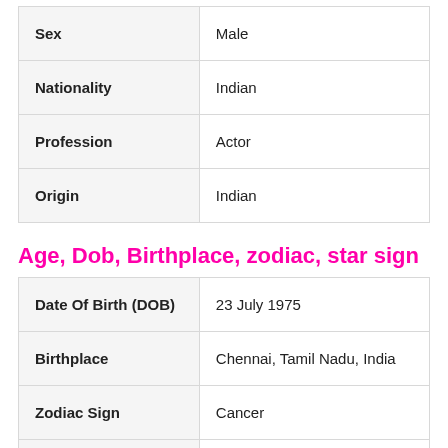| Field | Value |
| --- | --- |
| Sex | Male |
| Nationality | Indian |
| Profession | Actor |
| Origin | Indian |
Age, Dob, Birthplace, zodiac, star sign
| Field | Value |
| --- | --- |
| Date Of Birth (DOB) | 23 July 1975 |
| Birthplace | Chennai, Tamil Nadu, India |
| Zodiac Sign | Cancer |
| Star Sign (Nakshatra) | NA |